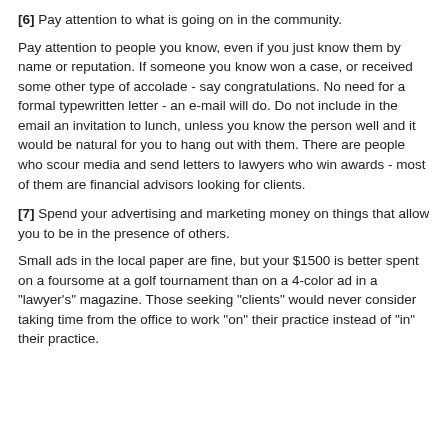[6] Pay attention to what is going on in the community.
Pay attention to people you know, even if you just know them by name or reputation. If someone you know won a case, or received some other type of accolade - say congratulations. No need for a formal typewritten letter - an e-mail will do. Do not include in the email an invitation to lunch, unless you know the person well and it would be natural for you to hang out with them. There are people who scour media and send letters to lawyers who win awards - most of them are financial advisors looking for clients.
[7] Spend your advertising and marketing money on things that allow you to be in the presence of others.
Small ads in the local paper are fine, but your $1500 is better spent on a foursome at a golf tournament than on a 4-color ad in a "lawyer's" magazine. Those seeking "clients" would never consider taking time from the office to work "on" their practice instead of "in" their practice.